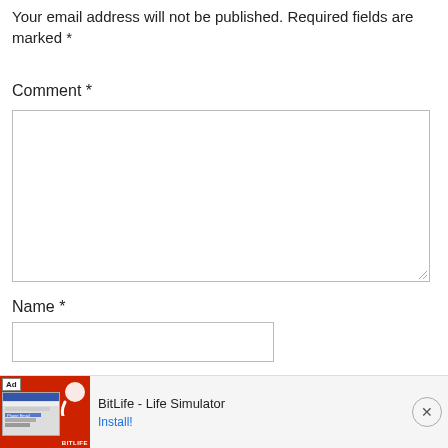Your email address will not be published. Required fields are marked *
Comment *
Name *
Email *
Website
[Figure (screenshot): Ad banner for BitLife - Life Simulator app with red background, sperm icon logo, and Install! link]